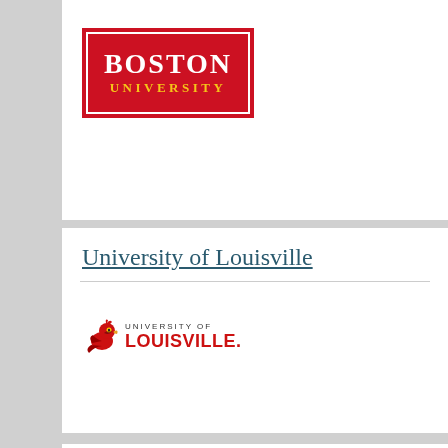[Figure (logo): Boston University logo: red rectangle with white border, 'BOSTON' in bold serif white text and 'UNIVERSITY' in gold bold serif text]
University of Louisville
[Figure (logo): University of Louisville logo: red cardinal bird icon with 'UNIVERSITY OF LOUISVILLE.' text in red]
Michigan State University
[Figure (logo): Michigan State University logo: dark green rectangle with 'MICHIGAN STATE' in white bold text and 'UNIVERSITY' underlined in white]